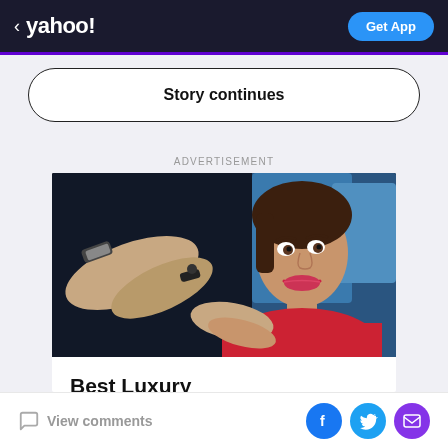< yahoo! Get App
Story continues
ADVERTISEMENT
[Figure (photo): A woman in a red top sitting in a car smiling, while a hand extends car keys toward her through the window.]
Best Luxury Midsize Sedans
View comments